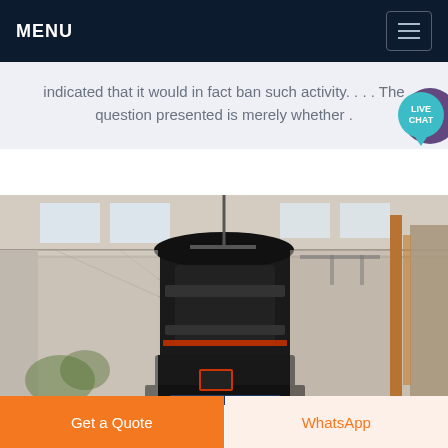MENU
indicated that it would in fact ban such activity. . . . The question presented is merely whether .
[Figure (photo): Industrial interior photograph showing a large piece of heavy machinery (likely a cone crusher or similar industrial equipment) installed inside a warehouse or factory building with high ceilings, skylights, metal framework, and copper/metal pipes visible.]
Get a Quote
WhatsApp